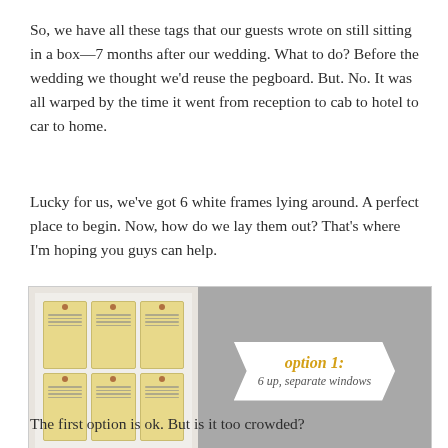So, we have all these tags that our guests wrote on still sitting in a box—7 months after our wedding. What to do? Before the wedding we thought we'd reuse the pegboard. But. No. It was all warped by the time it went from reception to cab to hotel to car to home.
Lucky for us, we've got 6 white frames lying around. A perfect place to begin. Now, how do we lay them out? That's where I'm hoping you guys can help.
[Figure (photo): A white frame containing 6 luggage-style tags arranged in a 3x2 grid with handwritten notes, next to a gray panel with a white ribbon banner reading 'option 1: 6 up, separate windows']
The first option is ok. But is it too crowded?